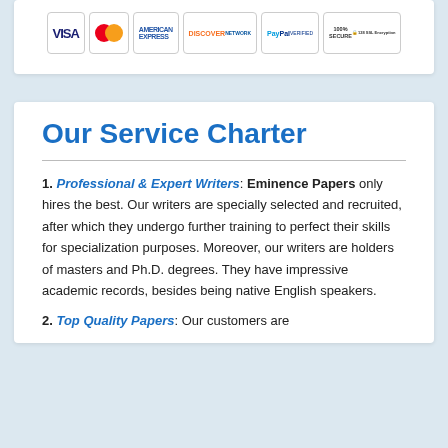[Figure (other): Payment method logos: VISA, MasterCard, American Express, Discover, PayPal Verified, 100% Secure SSL Encryption badge]
Our Service Charter
1. Professional & Expert Writers: Eminence Papers only hires the best. Our writers are specially selected and recruited, after which they undergo further training to perfect their skills for specialization purposes. Moreover, our writers are holders of masters and Ph.D. degrees. They have impressive academic records, besides being native English speakers.
2. Top Quality Papers: Our customers are